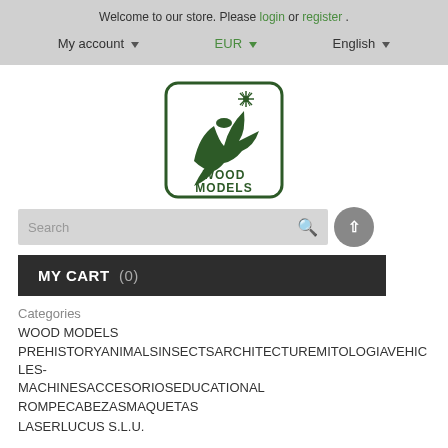Welcome to our store. Please login or register.
My account ▾   EUR ▾   English ▾
[Figure (logo): Wood Models store logo with dinosaur/pterodactyl and star graphic inside a rounded rectangle, dark green color, text WOOD MODELS below]
Search
MY CART  (0)
Categories
WOOD MODELS
PREHISTORYANIMALSINSECTSARCHITECTUREMITOLOGIAVEHICLES-MACHINESACCESORIOSEDUCATIONAL
ROMPECABEZASMAQUETAS
LASERLUCUS S.L.U.